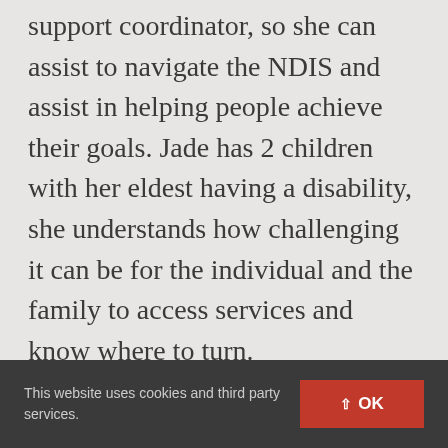support coordinator, so she can assist to navigate the NDIS and assist in helping people achieve their goals. Jade has 2 children with her eldest having a disability, she understands how challenging it can be for the individual and the family to access services and know where to turn.
I have chosen the role as a support coordinator as my career as it aligns with my personal values, and I believe that effective and empathetic communication is key to
This website uses cookies and third party services. OK